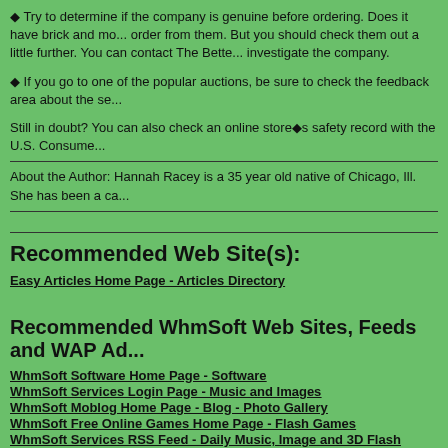◆ Try to determine if the company is genuine before ordering. Does it have brick and mo... order from them. But you should check them out a little further. You can contact The Bette... investigate the company.
◆ If you go to one of the popular auctions, be sure to check the feedback area about the se...
Still in doubt? You can also check an online store◆s safety record with the U.S. Consume...
About the Author: Hannah Racey is a 35 year old native of Chicago, Ill. She has been a ca...
Recommended Web Site(s):
Easy Articles Home Page - Articles Directory
Recommended WhmSoft Web Sites, Feeds and WAP Ad...
WhmSoft Software Home Page - Software
WhmSoft Services Login Page - Music and Images
WhmSoft Moblog Home Page - Blog - Photo Gallery
WhmSoft Free Online Games Home Page - Flash Games
WhmSoft Services RSS Feed - Daily Music, Image and 3D Flash Animation
Classical Music with Drum RSS Feed - MIDI and MP3 Files
Classical Music with Drum Podcast Feed - MP3 and MP3 Files
WAP / I-Mode / PDAs - Daily Music, Image and Flash Animation